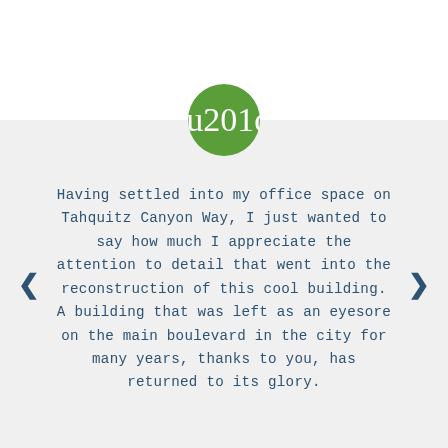[Figure (illustration): Green circle with white double quotation marks icon]
Having settled into my office space on Tahquitz Canyon Way, I just wanted to say how much I appreciate the attention to detail that went into the reconstruction of this cool building. A building that was left as an eyesore on the main boulevard in the city for many years, thanks to you, has returned to its glory.